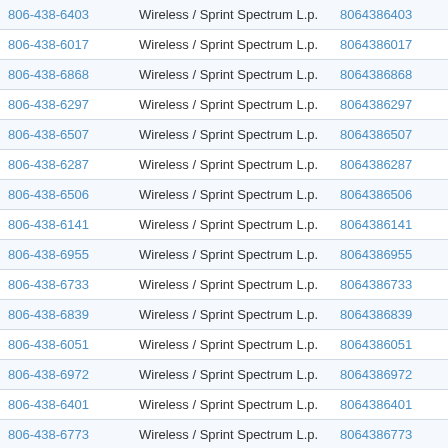| Phone | Carrier | Number | Action |
| --- | --- | --- | --- |
| 806-438-6403 | Wireless / Sprint Spectrum L.p. | 8064386403 | View |
| 806-438-6017 | Wireless / Sprint Spectrum L.p. | 8064386017 | View |
| 806-438-6868 | Wireless / Sprint Spectrum L.p. | 8064386868 | View |
| 806-438-6297 | Wireless / Sprint Spectrum L.p. | 8064386297 | View |
| 806-438-6507 | Wireless / Sprint Spectrum L.p. | 8064386507 | View |
| 806-438-6287 | Wireless / Sprint Spectrum L.p. | 8064386287 | View |
| 806-438-6506 | Wireless / Sprint Spectrum L.p. | 8064386506 | View |
| 806-438-6141 | Wireless / Sprint Spectrum L.p. | 8064386141 | View |
| 806-438-6955 | Wireless / Sprint Spectrum L.p. | 8064386955 | View |
| 806-438-6733 | Wireless / Sprint Spectrum L.p. | 8064386733 | View |
| 806-438-6839 | Wireless / Sprint Spectrum L.p. | 8064386839 | View |
| 806-438-6051 | Wireless / Sprint Spectrum L.p. | 8064386051 | View |
| 806-438-6972 | Wireless / Sprint Spectrum L.p. | 8064386972 | View |
| 806-438-6401 | Wireless / Sprint Spectrum L.p. | 8064386401 | View |
| 806-438-6773 | Wireless / Sprint Spectrum L.p. | 8064386773 | View |
| 806-438-6000 | Wireless / Sprint Spectrum L.p. | 8064386000 | View |
| 806-438-6640 | Wireless / Sprint Spectrum L.p. | 8064386640 | View |
| 806-438-6249 | Wireless / Sprint Spectrum L.p. | 8064386249 | View |